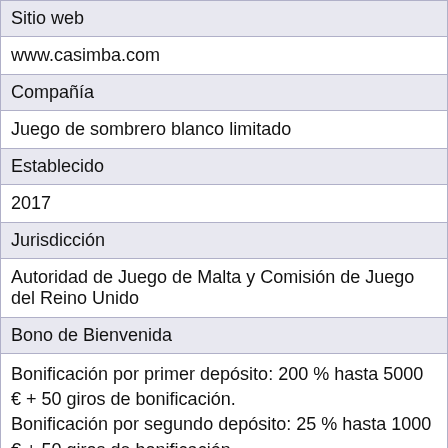| Sitio web |
| www.casimba.com |
| Compañía |
| Juego de sombrero blanco limitado |
| Establecido |
| 2017 |
| Jurisdicción |
| Autoridad de Juego de Malta y Comisión de Juego del Reino Unido |
| Bono de Bienvenida |
| Bonificación por primer depósito: 200 % hasta 5000 € + 50 giros de bonificación.
Bonificación por segundo depósito: 25 % hasta 1000 € + 50 giros de bonificación.
Bonificación por tercer depósito: 50 % hasta 500 € + 25 |